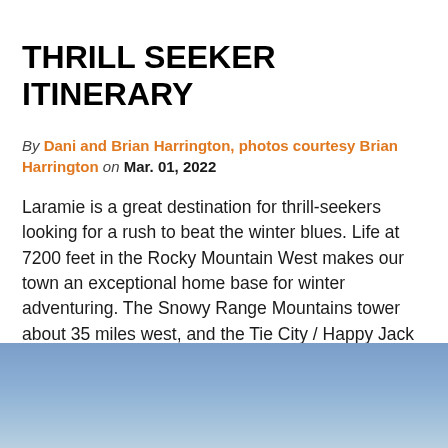THRILL SEEKER ITINERARY
By Dani and Brian Harrington, photos courtesy Brian Harrington on Mar. 01, 2022
Laramie is a great destination for thrill-seekers looking for a rush to beat the winter blues. Life at 7200 feet in the Rocky Mountain West makes our town an exceptional home base for winter adventuring. The Snowy Range Mountains tower about 35 miles west, and the Tie City / Happy Jack Recreation...
Read More →
[Figure (photo): Partial view of a blue sky with gradient, bottom of the page image area]